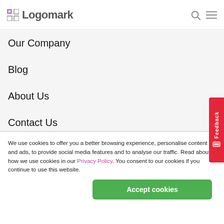Logomark
Our Company
Blog
About Us
Contact Us
Logomark Cares
Useful Information
We use cookies to offer you a better browsing experience, personalise content and ads, to provide social media features and to analyse our traffic. Read about how we use cookies in our Privacy Policy. You consent to our cookies if you continue to use this website.
Accept cookies